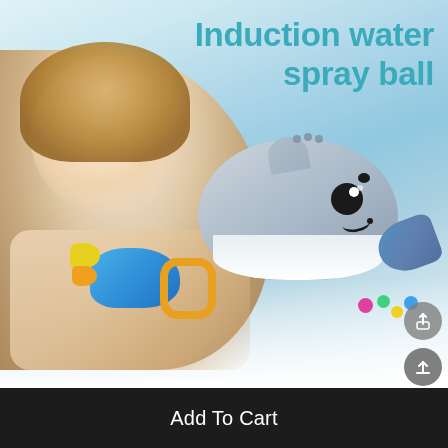[Figure (photo): Product listing image showing a smiling toddler in a bubble bath alongside a grey whale-shaped induction water spray ball toy, with colorful bath toys in the background. Text overlay reads 'Induction water spray ball'.]
Induction water spray ball
Add To Cart